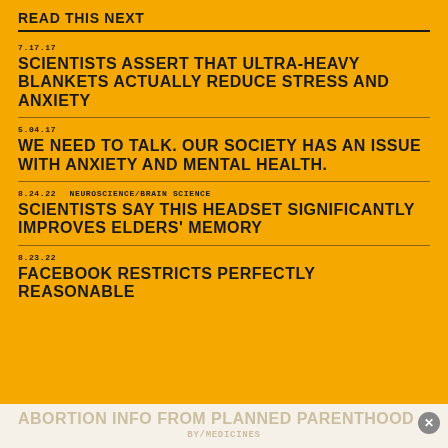READ THIS NEXT
7.17.17
SCIENTISTS ASSERT THAT ULTRA-HEAVY BLANKETS ACTUALLY REDUCE STRESS AND ANXIETY
5.04.17
WE NEED TO TALK. OUR SOCIETY HAS AN ISSUE WITH ANXIETY AND MENTAL HEALTH.
8.24.22  NEUROSCIENCE/BRAIN SCIENCE
SCIENTISTS SAY THIS HEADSET SIGNIFICANTLY IMPROVES ELDERS' MEMORY
8.23.22
FACEBOOK RESTRICTS PERFECTLY REASONABLE
ABORTION INFO FROM PLANNED PARENTHOOD
BY/MEDICINES